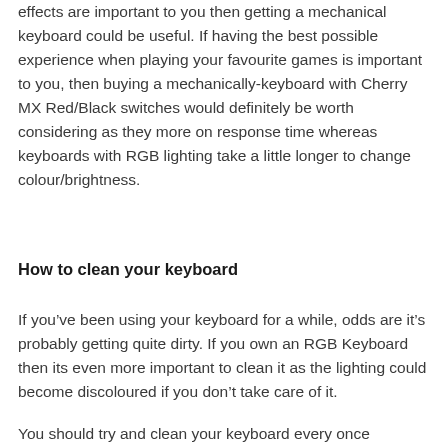effects are important to you then getting a mechanical keyboard could be useful. If having the best possible experience when playing your favourite games is important to you, then buying a mechanically-keyboard with Cherry MX Red/Black switches would definitely be worth considering as they more on response time whereas keyboards with RGB lighting take a little longer to change colour/brightness.
How to clean your keyboard
If you’ve been using your keyboard for a while, odds are it’s probably getting quite dirty. If you own an RGB Keyboard then its even more important to clean it as the lighting could become discoloured if you don’t take care of it.
You should try and clean your keyboard every once